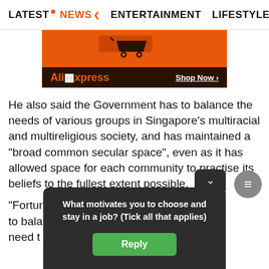LATEST  NEWS  ENTERTAINMENT  LIFESTYLE  EC>
[Figure (illustration): AliExpress advertisement banner with orange background showing a shopping cart, and dark brown bottom bar with 'AliExpress' branding and 'Shop Now >' link]
He also said the Government has to balance the needs of various groups in Singapore's multiracial and multireligious society, and has maintained a "broad common secular space", even as it has allowed space for each community to practise its beliefs to the fullest extent possible.
"Fortun... need to bala... th the need to... o preserv... from,
[Figure (screenshot): Dark popup overlay with question 'What motivates you to choose and stay in a job? (Tick all that applies)' and a green 'Reply' button]